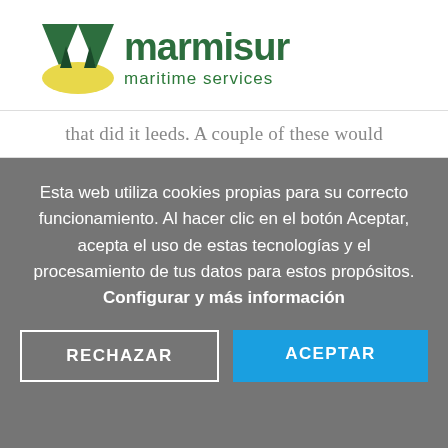[Figure (logo): Marmisur maritime services logo — stylized M/W shape in dark green with yellow base accent, text 'marmisur' in dark green and 'maritime services' in smaller green text below]
that did it leeds. A couple of these would
Esta web utiliza cookies propias para su correcto funcionamiento. Al hacer clic en el botón Aceptar, acepta el uso de estas tecnologías y el procesamiento de tus datos para estos propósitos. Configurar y más información
RECHAZAR
ACEPTAR